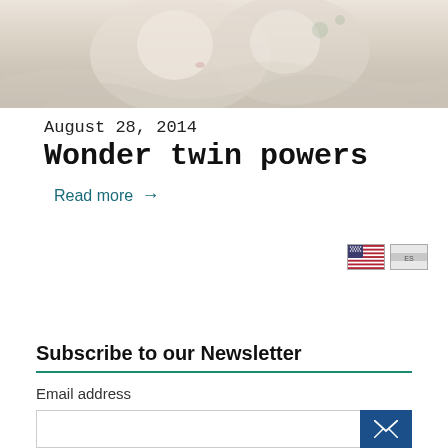[Figure (photo): Close-up photo of newborn twins wrapped in light-colored blankets, with cream and floral fabric tones]
August 28, 2014
Wonder twin powers
Read more →
[Figure (other): Two small flag icons: US flag and another country flag, displayed in the lower right area]
Subscribe to our Newsletter
Email address